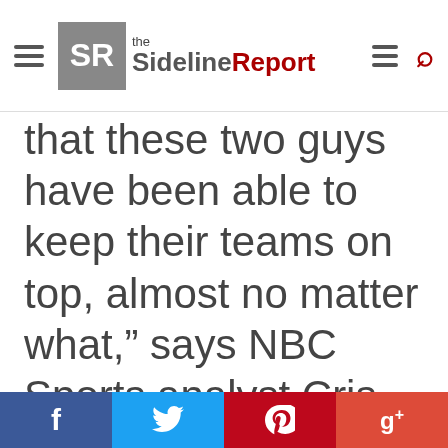the SidelineReport
that these two guys have been able to keep their teams on top, almost no matter what," says NBC Sports analyst Cris Collinsworth. "All they do is keep on winning. That's how great they
[Figure (other): Social sharing bar with Facebook, Twitter, Pinterest, and Google+ buttons]